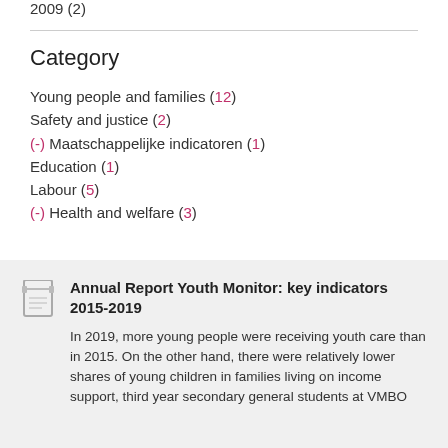2009 (2)
Category
Young people and families (12)
Safety and justice (2)
(-) Maatschappelijke indicatoren (1)
Education (1)
Labour (5)
(-) Health and welfare (3)
Annual Report Youth Monitor: key indicators 2015-2019
In 2019, more young people were receiving youth care than in 2015. On the other hand, there were relatively lower shares of young children in families living on income support, third year secondary general students at VMBO